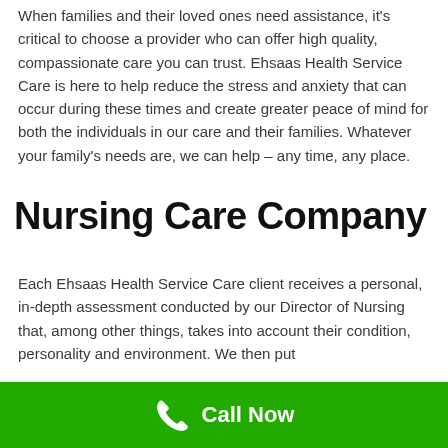When families and their loved ones need assistance, it's critical to choose a provider who can offer high quality, compassionate care you can trust. Ehsaas Health Service Care is here to help reduce the stress and anxiety that can occur during these times and create greater peace of mind for both the individuals in our care and their families. Whatever your family's needs are, we can help – any time, any place.
Nursing Care Company
Each Ehsaas Health Service Care client receives a personal, in-depth assessment conducted by our Director of Nursing that, among other things, takes into account their condition, personality and environment. We then put
Call Now